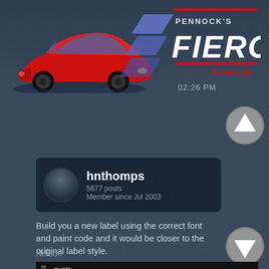[Figure (logo): Pennock's Fiero Forum logo with red Fiero car illustration and blue chevron design]
02:26 PM
[Figure (illustration): Up arrow navigation button, circular grey with white up arrow]
[Figure (illustration): User avatar placeholder, dark circular]
hnthomps
5677 posts
Member since Jul 2003
Build you a new label using the correct font and paint code and it would be closer to the original label style.

Nelson
quote
Originally posted by reholmes:
OK, Dan, what's wrong with this picture--other than it is a terrible photo?
Sorry.
This Image Is currently Unavailable
[Figure (illustration): Down arrow navigation button, circular grey with white down arrow]